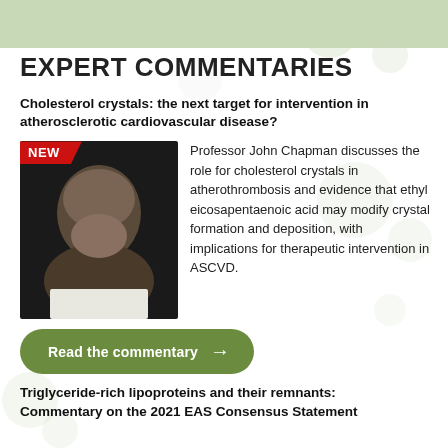EXPERT COMMENTARIES
Cholesterol crystals: the next target for intervention in atherosclerotic cardiovascular disease?
[Figure (photo): Headshot photo of Professor John Chapman with a red NEW badge overlay in the top-left corner]
Professor John Chapman discusses the role for cholesterol crystals in atherothrombosis and evidence that ethyl eicosapentaenoic acid may modify crystal formation and deposition, with implications for therapeutic intervention in ASCVD.
Read the commentary →
Triglyceride-rich lipoproteins and their remnants: Commentary on the 2021 EAS Consensus Statement